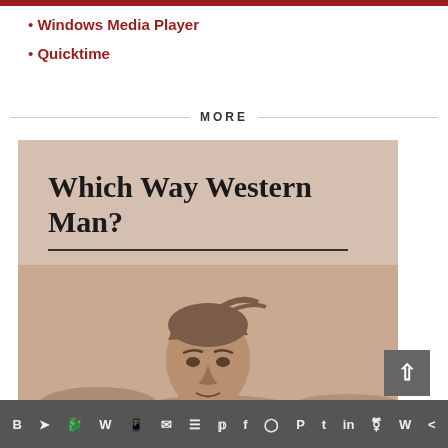Windows Media Player
Quicktime
MORE
[Figure (illustration): Book cover for 'Which Way Western Man?' by William Gayley Simpson, showing the title in bold serif type, a horizontal rule, the author's name, and a sepia-toned photograph of a man's face and upper torso outdoors.]
Social media share bar with icons for VK, Telegram, Reddit, WordPress, WhatsApp, Email, Buffer, Twitter, Facebook, Instagram, Pinterest, Tumblr, LinkedIn, Share, Weebly, Share